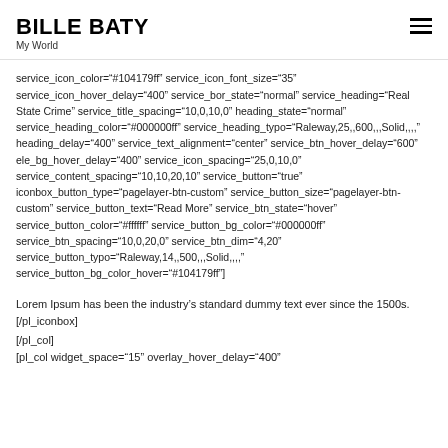BILLE BATY
My World
service_icon_color="#104179ff" service_icon_font_size="35" service_icon_hover_delay="400" service_bor_state="normal" service_heading="Real State Crime" service_title_spacing="10,0,10,0" heading_state="normal" service_heading_color="#000000ff" service_heading_typo="Raleway,25,,600,,,Solid,,,," heading_delay="400" service_text_alignment="center" service_btn_hover_delay="600" ele_bg_hover_delay="400" service_icon_spacing="25,0,10,0" service_content_spacing="10,10,20,10" service_button="true" iconbox_button_type="pagelayer-btn-custom" service_button_size="pagelayer-btn-custom" service_button_text="Read More" service_btn_state="hover" service_button_color="#ffffff" service_button_bg_color="#000000ff" service_btn_spacing="10,0,20,0" service_btn_dim="4,20" service_button_typo="Raleway,14,,500,,,Solid,,,," service_button_bg_color_hover="#104179ff"]
Lorem Ipsum has been the industry's standard dummy text ever since the 1500s.[/pl_iconbox]
[/pl_col]
[pl_col widget_space="15" overlay_hover_delay="400"